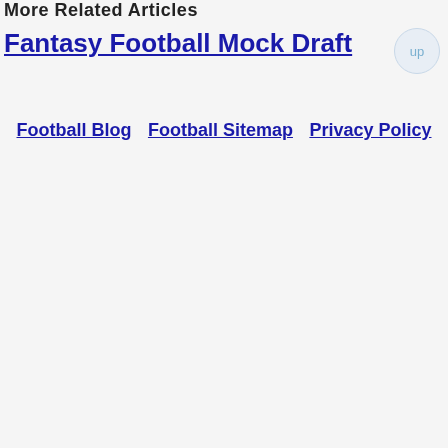More Related Articles
Fantasy Football Mock Draft
Football Blog  Football Sitemap  Privacy Policy